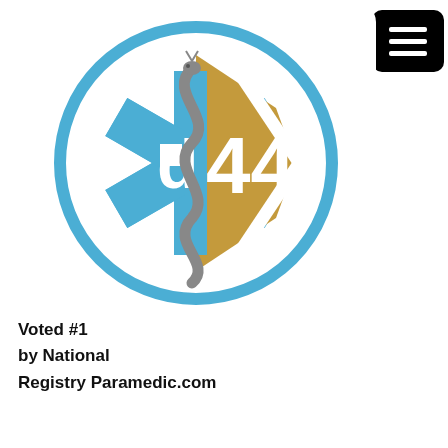[Figure (logo): id44 medical logo combining the Star of Life (blue) and a Maltese-cross/fire department badge (golden/tan) with a Rod of Asclepius snake, inside a blue circle. Text 'd44' visible in the center.]
Voted #1
by National
Registry Paramedic.com